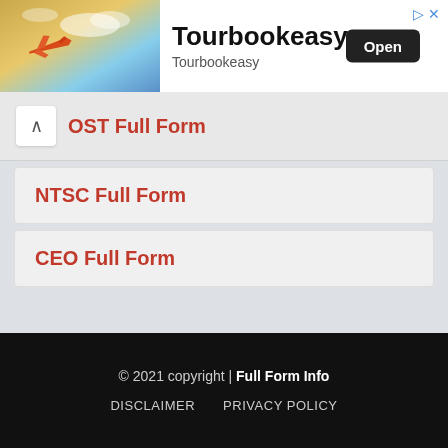[Figure (photo): Advertisement banner for Tourbookeasy app showing airplane in sky with Open button]
OST Full Form
NTSC Full Form
CEO Full Form
© 2021 copyright | Full Form Info
DISCLAIMER   PRIVACY POLICY